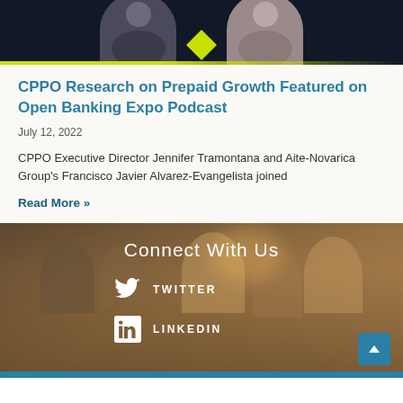[Figure (photo): Two people (a man and a woman) shown as partial headshots against a dark background with yellow geometric accents, appearing to be podcast hosts or guests]
CPPO Research on Prepaid Growth Featured on Open Banking Expo Podcast
July 12, 2022
CPPO Executive Director Jennifer Tramontana and Aite-Novarica Group's Francisco Javier Alvarez-Evangelista joined
Read More »
[Figure (photo): Footer section with blurred crowd background in warm orange/brown tones showing 'Connect With Us' heading with Twitter and LinkedIn social media links]
Connect With Us
TWITTER
LINKEDIN